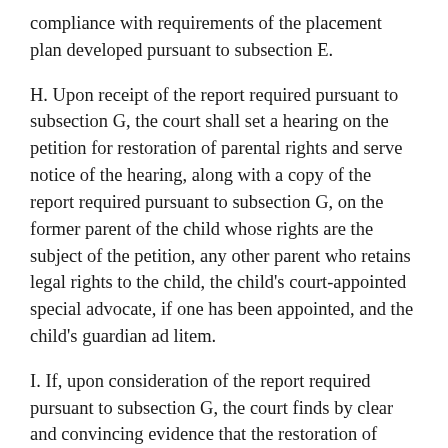compliance with requirements of the placement plan developed pursuant to subsection E.
H. Upon receipt of the report required pursuant to subsection G, the court shall set a hearing on the petition for restoration of parental rights and serve notice of the hearing, along with a copy of the report required pursuant to subsection G, on the former parent of the child whose rights are the subject of the petition, any other parent who retains legal rights to the child, the child's court-appointed special advocate, if one has been appointed, and the child's guardian ad litem.
I. If, upon consideration of the report required pursuant to subsection G, the court finds by clear and convincing evidence that the restoration of parental rights is in the child's best interest, the court shall enter an order restoring the parental rights of the child's parent. In determining whether restoration is in the best interest of the child, the court shall consider the following: